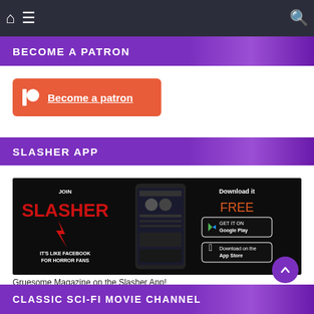BECOME A PATRON
[Figure (other): Patreon button with logo and 'Become a patron' link on red/orange background]
SLASHER APP
[Figure (other): Slasher App advertisement banner: Join Slasher - It's like Facebook for Horror Fans. Download it FREE on Google Play and App Store. Shows smartphone with app interface.]
Gruesome Magazine on the Slasher App!
CLASSIC SCI-FI MOVIE CHANNEL